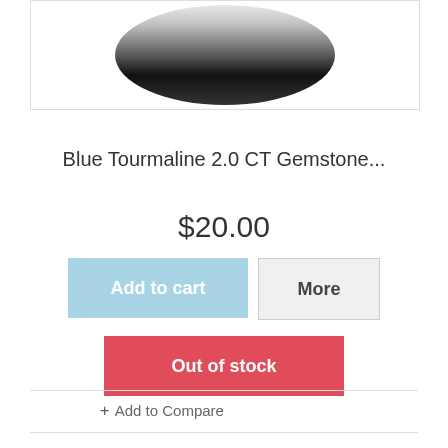[Figure (photo): Close-up photo of a dark blue/black round gemstone on a white background]
Blue Tourmaline 2.0 CT Gemstone...
$20.00
Add to cart
More
Out of stock
+ Add to Compare
Compare (0) >